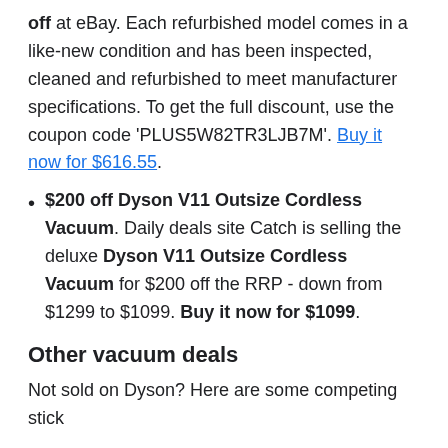off at eBay. Each refurbished model comes in a like-new condition and has been inspected, cleaned and refurbished to meet manufacturer specifications. To get the full discount, use the coupon code 'PLUS5W82TR3LJB7M'. Buy it now for $616.55.
$200 off Dyson V11 Outsize Cordless Vacuum. Daily deals site Catch is selling the deluxe Dyson V11 Outsize Cordless Vacuum for $200 off the RRP - down from $1299 to $1099. Buy it now for $1099.
Other vacuum deals
Not sold on Dyson? Here are some competing stick